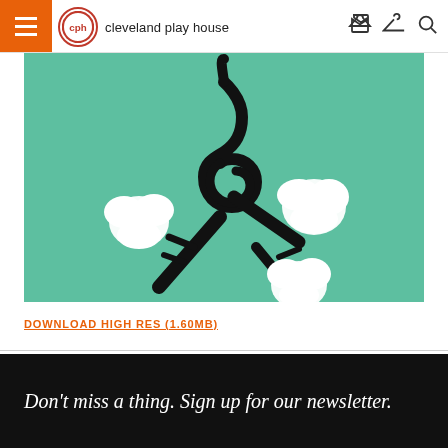Cleveland Play House
[Figure (illustration): Illustration of a treble clef combined with a cotton plant branch on a teal/mint green background. Three white cotton bolls are attached to a black stylized branch that forms the lower portion of the treble clef symbol.]
DOWNLOAD HIGH RES (1.60MB)
Don't miss a thing. Sign up for our newsletter.